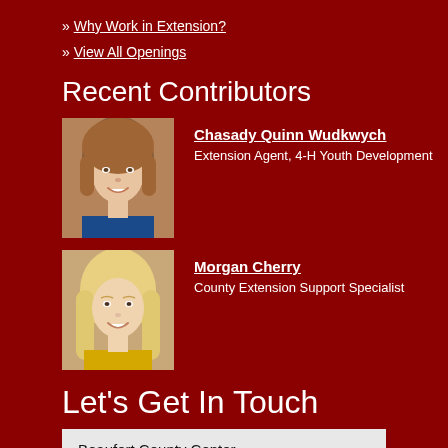» Why Work in Extension?
» View All Openings
Recent Contributors
[Figure (photo): Headshot of Chasady Quinn Wudkwych, a young woman with brown hair, smiling, wearing a blue floral top]
Chasady Quinn Wudkwych
Extension Agent, 4-H Youth Development
[Figure (photo): Headshot of Morgan Cherry, a young woman with long blonde hair, wearing a yellow top]
Morgan Cherry
County Extension Support Specialist
Let's Get In Touch
| STREET ADDRESS: | MAILING ADDRESS: |
| --- | --- |
| 155 A Airport Rd… | 155 A Airport Rd… |
Beaufort County Center